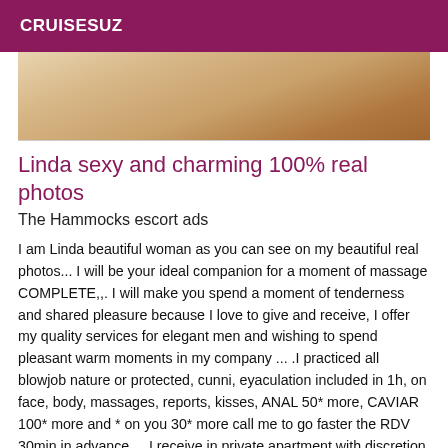CRUISESUZ
[Figure (photo): Cropped photo of a woman, showing torso/body area with warm skin tones]
Linda sexy and charming 100% real photos
The Hammocks escort ads
I am Linda beautiful woman as you can see on my beautiful real photos... I will be your ideal companion for a moment of massage COMPLETE,,. I will make you spend a moment of tenderness and shared pleasure because I love to give and receive, I offer my quality services for elegant men and wishing to spend pleasant warm moments in my company ... .I practiced all blowjob nature or protected, cunni, eyaculation included in 1h, on face, body, massages, reports, kisses, ANAL 50* more, CAVIAR 100* more and * on you 30* more call me to go faster the RDV 30min in advance.... I receive in private apartment with discretion ... See you soon... Big kisses,